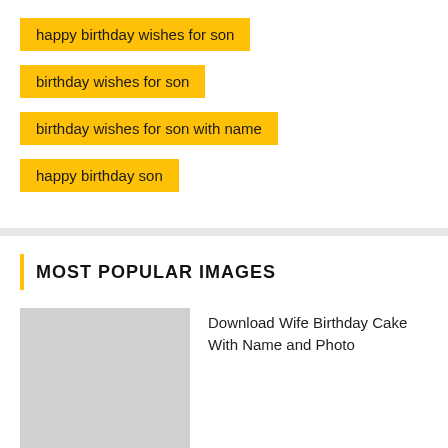happy birthday wishes for son
birthday wishes for son
birthday wishes for son with name
happy birthday son
MOST POPULAR IMAGES
[Figure (photo): Placeholder thumbnail image (grey rectangle)]
Download Wife Birthday Cake With Name and Photo
[Figure (photo): Partial placeholder thumbnail image at bottom]